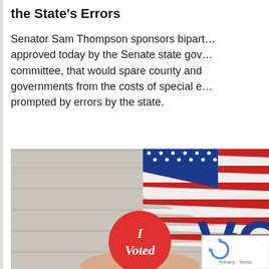the State's Errors
Senator Sam Thompson sponsors bipartisan bill approved today by the Senate state government committee, that would spare county and local governments from the costs of special elections prompted by errors by the state.
[Figure (photo): A hand holding an 'I Voted' red circular sticker in front of an American flag and a sign with the letters 'VO' visible in blue.]